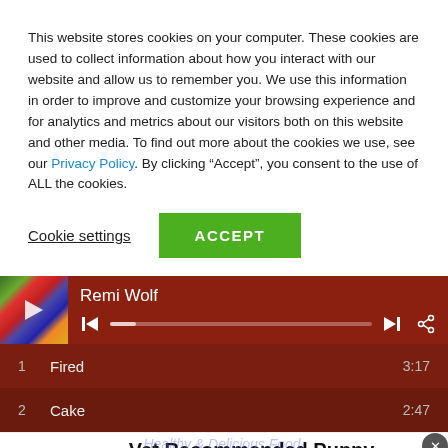This website stores cookies on your computer. These cookies are used to collect information about how you interact with our website and allow us to remember you. We use this information in order to improve and customize your browsing experience and for analytics and metrics about our visitors both on this website and other media. To find out more about the cookies we use, see our Privacy Policy. By clicking “Accept”, you consent to the use of ALL the cookies.
Cookie settings
ACCEPT
[Figure (screenshot): Music player widget showing Remi Wolf artist name, play controls, progress bar, and track listing with Fired (3:17) and Cake (2:47)]
[Figure (screenshot): PetSmart advertisement: Vet Recommended Puppy Food, Petsmart.com]